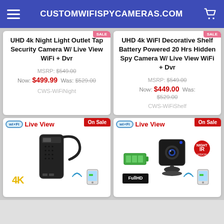CUSTOMWIFISPYCAMERAS.COM
UHD 4k Night Light Outlet Tap Security Camera W/ Live View WiFi + Dvr
MSRP: $549.00
Now: $499.99  Was: $529.00
CWS-WiFiNight
UHD 4k WiFI Decorative Shelf Battery Powered 20 Hrs Hidden Spy Camera W/ Live View WiFi + Dvr
MSRP: $549.00
Now: $449.00  Was: $529.00
CWS-WiFiShelf
[Figure (photo): WiFi Live View spy camera product - power strip/bank style hidden camera with On Sale badge]
[Figure (photo): WiFi Live View spy camera product - cube style hidden camera with battery indicator and IR icon, On Sale badge]